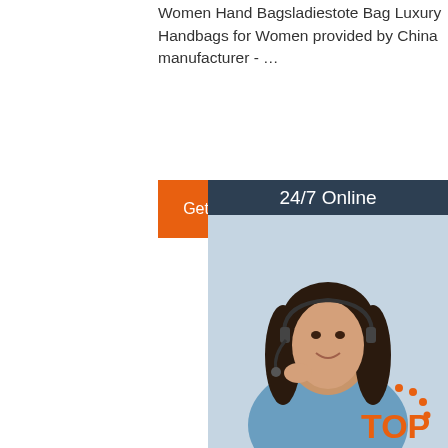Women Hand Bagsladiestote Bag Luxury Handbags for Women provided by China manufacturer - …
[Figure (other): Orange 'Get Price' button]
[Figure (infographic): 24/7 Online chat widget with a photo of a woman wearing a headset, 'Click here for free chat!' text, and an orange QUOTATION button]
Fashion Bag - Shijiazhuang Runy Trading Co., Ltd. - 2.
2021 Fashionable Women Hand Bags and Purses Luxury Designer Bag with Flower Decoration Mini Shoulder Chain Bag for Ladies. FOB Price: US $5-80 Piece. Min. Order: 1 Piece. Contact Now. Brand Retro Fashion
[Figure (logo): TOP badge logo with orange dots and text]